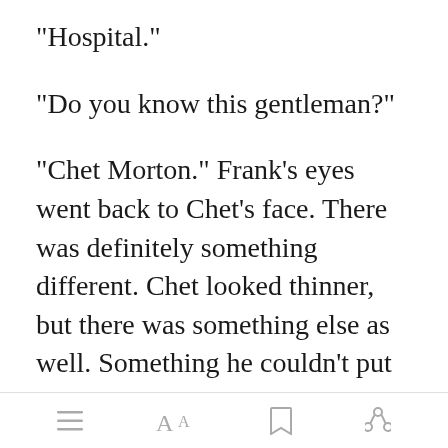"Hospital."
"Do you know this gentleman?"
"Chet Morton." Frank's eyes went back to Chet's face. There was definitely something different. Chet looked thinner, but there was something else as well. Something he couldn't put his finger on. He turned back to the doctor, hoping it
[toolbar with menu, font, bookmark, share icons]